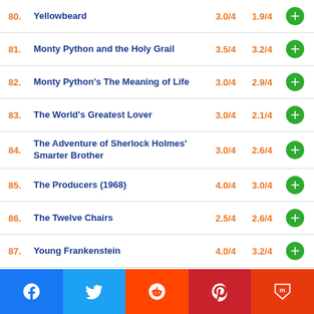80. Yellowbeard  3.0/4  1.9/4
81. Monty Python and the Holy Grail  3.5/4  3.2/4
82. Monty Python's The Meaning of Life  3.0/4  2.9/4
83. The World's Greatest Lover  3.0/4  2.1/4
84. The Adventure of Sherlock Holmes' Smarter Brother  3.0/4  2.6/4
85. The Producers (1968)  4.0/4  3.0/4
86. The Twelve Chairs  2.5/4  2.6/4
87. Young Frankenstein  4.0/4  3.2/4
88. Blazing Saddles  4.0/4  3.1/4
89. Silent Movie  3.0/4  2.4/4